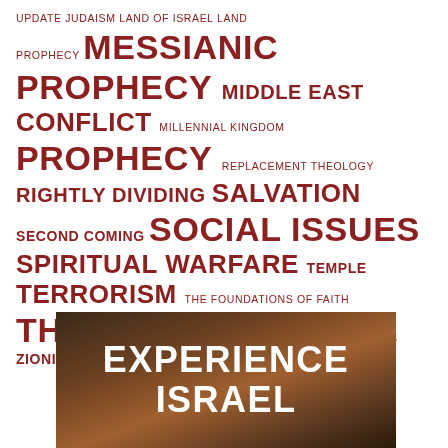UPDATE JUDAISM LAND OF ISRAEL LAND PROPHECY MESSIANIC PROPHECY MIDDLE EAST CONFLICT MILLENNIAL KINGDOM PROPHECY REPLACEMENT THEOLOGY RIGHTLY DIVIDING SALVATION SECOND COMING SOCIAL ISSUES SPIRITUAL WARFARE TEMPLE TERRORISM THE FOUNDATIONS OF FAITH THEOLOGY TRIBULATION UNITED NATIONS ZIONISM
[Figure (photo): Dark warm-toned photo background with overlaid white bold text reading EXPERIENCE ISRAEL]